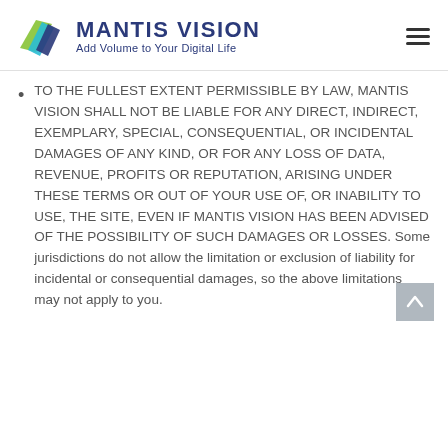MANTIS VISION — Add Volume to Your Digital Life
TO THE FULLEST EXTENT PERMISSIBLE BY LAW, MANTIS VISION SHALL NOT BE LIABLE FOR ANY DIRECT, INDIRECT, EXEMPLARY, SPECIAL, CONSEQUENTIAL, OR INCIDENTAL DAMAGES OF ANY KIND, OR FOR ANY LOSS OF DATA, REVENUE, PROFITS OR REPUTATION, ARISING UNDER THESE TERMS OR OUT OF YOUR USE OF, OR INABILITY TO USE, THE SITE, EVEN IF MANTIS VISION HAS BEEN ADVISED OF THE POSSIBILITY OF SUCH DAMAGES OR LOSSES. Some jurisdictions do not allow the limitation or exclusion of liability for incidental or consequential damages, so the above limitations may not apply to you.